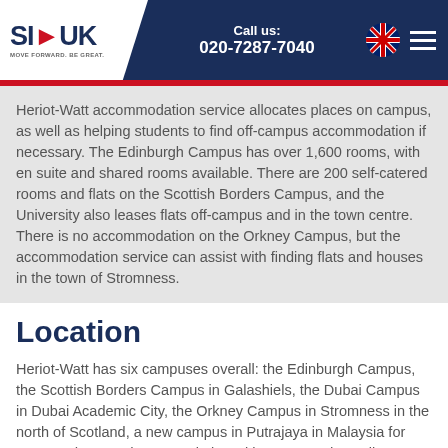Call us: 020-7287-7040
Heriot-Watt accommodation service allocates places on campus, as well as helping students to find off-campus accommodation if necessary. The Edinburgh Campus has over 1,600 rooms, with en suite and shared rooms available. There are 200 self-catered rooms and flats on the Scottish Borders Campus, and the University also leases flats off-campus and in the town centre. There is no accommodation on the Orkney Campus, but the accommodation service can assist with finding flats and houses in the town of Stromness.
Location
Heriot-Watt has six campuses overall: the Edinburgh Campus, the Scottish Borders Campus in Galashiels, the Dubai Campus in Dubai Academic City, the Orkney Campus in Stromness in the north of Scotland, a new campus in Putrajaya in Malaysia for MBA students and an association with West London college. The main